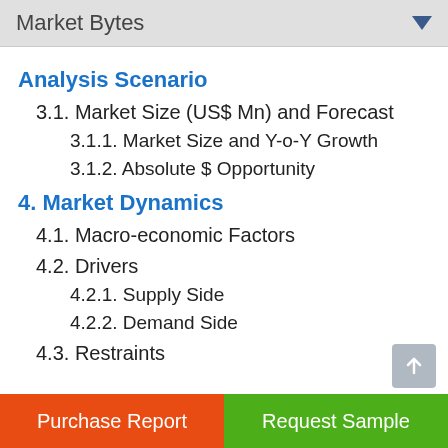Market Bytes
Analysis Scenario
3.1. Market Size (US$ Mn) and Forecast
3.1.1. Market Size and Y-o-Y Growth
3.1.2. Absolute $ Opportunity
4. Market Dynamics
4.1. Macro-economic Factors
4.2. Drivers
4.2.1. Supply Side
4.2.2. Demand Side
4.3. Restraints
Purchase Report | Request Sample